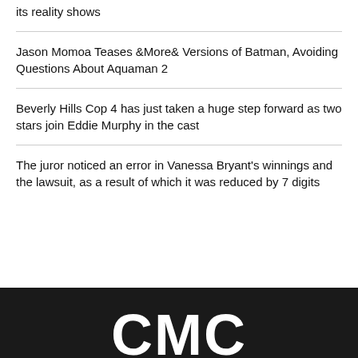its reality shows
Jason Momoa Teases &More& Versions of Batman, Avoiding Questions About Aquaman 2
Beverly Hills Cop 4 has just taken a huge step forward as two stars join Eddie Murphy in the cast
The juror noticed an error in Vanessa Bryant's winnings and the lawsuit, as a result of which it was reduced by 7 digits
CMC